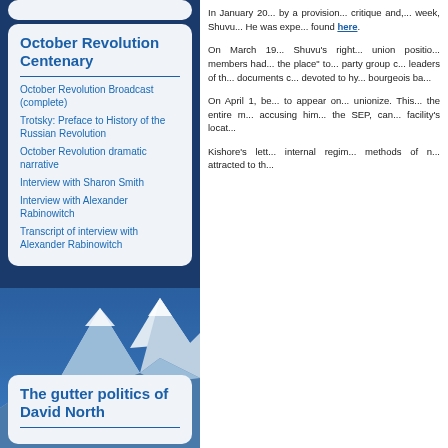October Revolution Centenary
October Revolution Broadcast (complete)
Trotsky: Preface to History of the Russian Revolution
October Revolution dramatic narrative
Interview with Sharon Smith
Interview with Alexander Rabinowitch
Transcript of interview with Alexander Rabinowitch
The gutter politics of David North
In January 20... by a provision... critique and,... week, Shuvu... He was expe... found here.
On March 19... Shuvu's right... union positio... members had... the place" to... party group c... leaders of th... documents c... devoted to hy... bourgeois ba...
On April 1, be... to appear on... unionize. This... the entire m... accusing him... the SEP, can... facility's locat...
Kishore's lett... internal regim... methods of n... attracted to th...